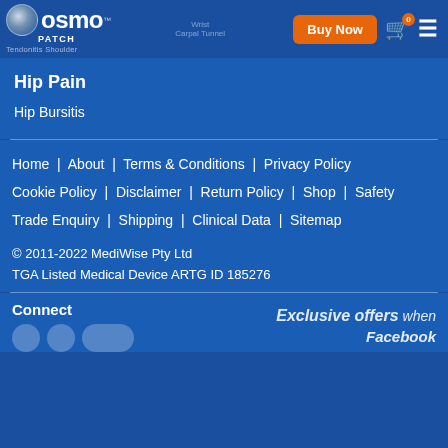[Figure (logo): Osmo Patch logo with globe icon and 'PATCH' text, blue background]
Tendonitis | Shoulder | Carpal Tunnel (faded background text)
Hip Pain
Hip Bursitis
Home  About  Terms & Conditions  Privacy Policy  Cookie Policy  Disclaimer  Return Policy  Shop  Safety  Trade Enquiry  Shipping  Clinical Data  Sitemap
© 2011-2022 MediWise Pty Ltd
TGA Listed Medical Device ARTG ID 185276
Connect
Exclusive offers when Facebook